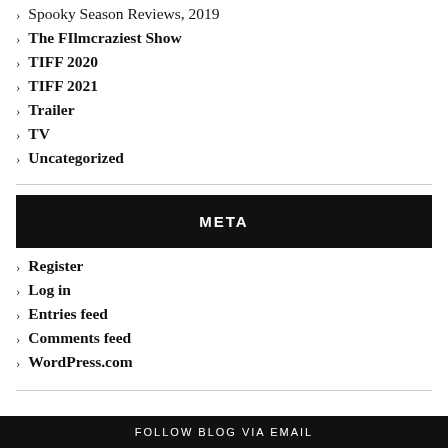Spooky Season Reviews, 2019
The FIlmcraziest Show
TIFF 2020
TIFF 2021
Trailer
TV
Uncategorized
META
Register
Log in
Entries feed
Comments feed
WordPress.com
FOLLOW BLOG VIA EMAIL